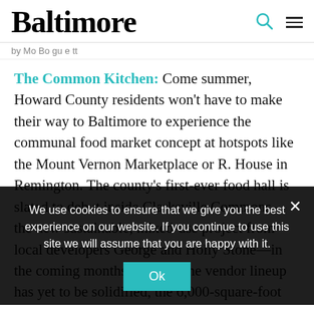Baltimore
by Mo Bogue tt
The Common Kitchen: Come summer, Howard County residents won't have to make their way to Baltimore to experience the communal food market concept at hotspots like the Mount Vernon Marketplace or R. House in Remington. The county's first-ever food hall is slated to debut inside Clarksville Commons—the new sustainable, mixed-use project from local developers George and Holly Stone—in the coming months. Though the vendor lineup has yet to be solidified, the 6,000-square-foot space will feature 10 stalls, as well as a bar
We use cookies to ensure that we give you the best experience on our website. If you continue to use this site we will assume that you are happy with it. Ok